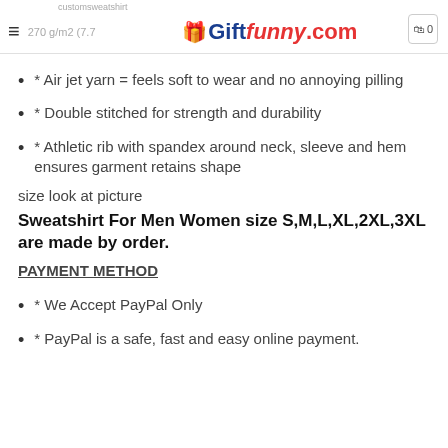customsweatshirt | Giftfunny.com | 270 g/m2 (7.7...
* Air jet yarn = feels soft to wear and no annoying pilling
* Double stitched for strength and durability
* Athletic rib with spandex around neck, sleeve and hem ensures garment retains shape
size look at picture
Sweatshirt For Men Women size S,M,L,XL,2XL,3XL are made by order.
PAYMENT METHOD
* We Accept PayPal Only
* PayPal is a safe, fast and easy online payment.